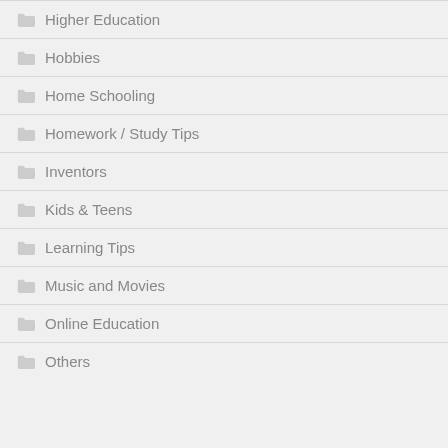Higher Education
Hobbies
Home Schooling
Homework / Study Tips
Inventors
Kids & Teens
Learning Tips
Music and Movies
Online Education
Others